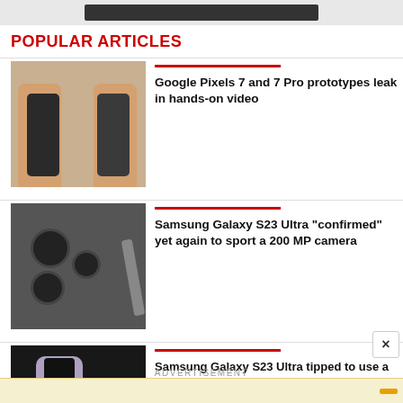POPULAR ARTICLES
[Figure (photo): Two hands holding two dark Google Pixel 7 and 7 Pro smartphones back-to-back]
Google Pixels 7 and 7 Pro prototypes leak in hands-on video
[Figure (photo): Close-up of Samsung Galaxy S23 Ultra showing camera module with multiple lenses and S Pen stylus]
Samsung Galaxy S23 Ultra "confirmed" yet again to sport a 200 MP camera
[Figure (photo): Hand pressing fingerprint on dark Samsung Galaxy S23 Ultra smartphone screen]
Samsung Galaxy S23 Ultra tipped to use a faster fingerprint reader with a larger scanning area
[Figure (photo): Colorful purple/red promotional graphic with 'SEP' text for Motorola September 8 launch event]
Motorola teases September 8 launch
ADVERTISEMENT